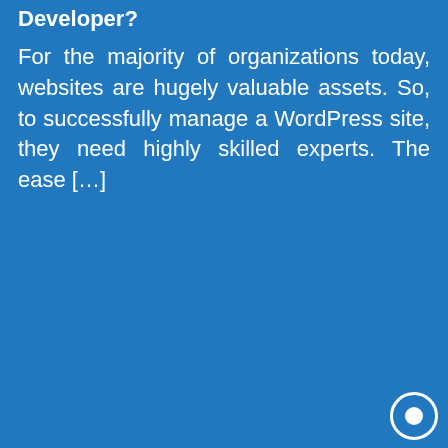Developer?
For the majority of organizations today, websites are hugely valuable assets. So, to successfully manage a WordPress site, they need highly skilled experts. The ease […]
[Figure (infographic): Affiliate marketing promotional card on blue background. White rounded rectangle card with text 'Become an Affiliate' and an orange 'Start Earning' button.]